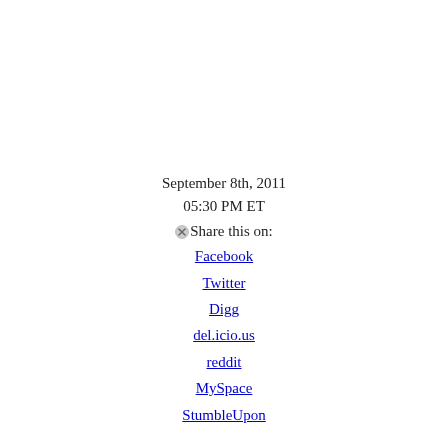September 8th, 2011
05:30 PM ET
Share this on:
Facebook
Twitter
Digg
del.icio.us
reddit
MySpace
StumbleUpon